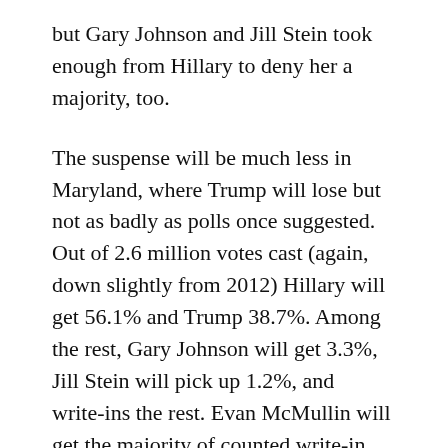but Gary Johnson and Jill Stein took enough from Hillary to deny her a majority, too.
The suspense will be much less in Maryland, where Trump will lose but not as badly as polls once suggested. Out of 2.6 million votes cast (again, down slightly from 2012) Hillary will get 56.1% and Trump 38.7%. Among the rest, Gary Johnson will get 3.3%, Jill Stein will pick up 1.2%, and write-ins the rest. Evan McMullin will get the majority of counted write-in votes, eclipsing the 5,000 mark statewide. I think Darrell Castle comes in next with around 1,100, which almost triples the 2012 Constitution Party candidates Virgil Goode and James Clymer (both ran under that banner as the party had split factions.) This could be...